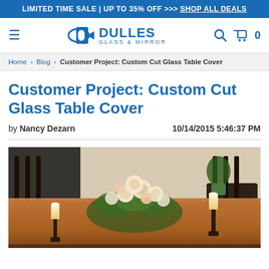LIMITED TIME SALE | UP TO 35% OFF >>> SHOP ALL DEALS
[Figure (logo): Dulles Glass & Mirror logo with hamburger menu, search icon, cart icon and 0 count]
Home > Blog > Customer Project: Custom Cut Glass Table Cover
Customer Project: Custom Cut Glass Table Cover
by Nancy Dezarn   10/14/2015 5:46:37 PM
[Figure (photo): A dining table with a floral centerpiece arrangement and candle holders, photographed from the side showing dark wood chairs in the background.]